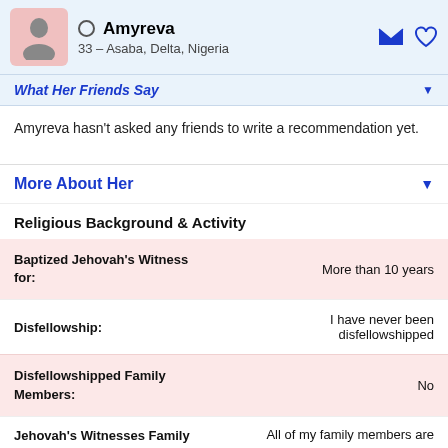Amyreva — 33 – Asaba, Delta, Nigeria
What Her Friends Say
Amyreva hasn't asked any friends to write a recommendation yet.
More About Her
Religious Background & Activity
| Field | Value |
| --- | --- |
| Baptized Jehovah's Witness for: | More than 10 years |
| Disfellowship: | I have never been disfellowshipped |
| Disfellowshipped Family Members: | No |
| Jehovah's Witnesses Family | All of my family members are |